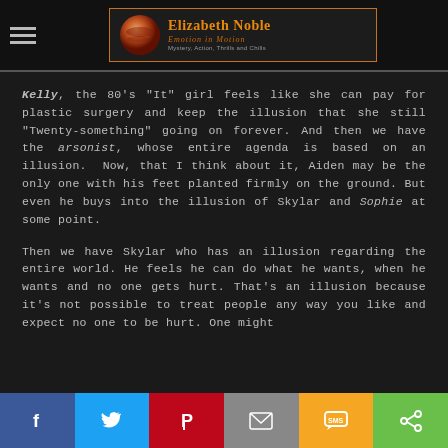Elizabeth Noble — Emotion in Motion — Mystery, Action, Thrills and Chills
Kelly, the 80's "It" girl feels like she can pay for plastic surgery and keep the illusion that she still "Twenty-something" going on forever. And then we have the arsonist, whose entire agenda is based on an illusion. Now, that I think about it, Aiden may be the only one with his feet planted firmly on the ground. But even he buys into the illusion of Skylar and Sophie at some point.
Then we have Skylar who has an illusion regarding the entire world. He feels he can do what he wants, when he wants and no one gets hurt. That's an illusion because it's not possible to treat people any way you like and expect no one to be hurt. One might
Facebook | Twitter | Pinterest | Email | SMS | Share